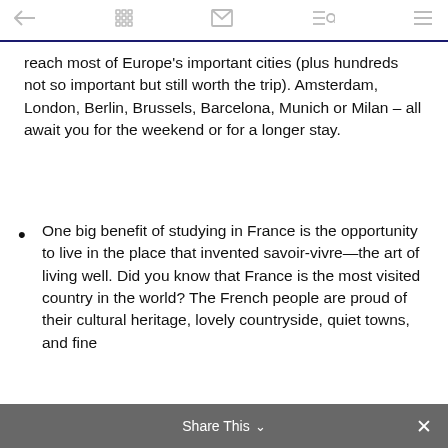← [grid] [envelope] [search] [menu]
reach most of Europe's important cities (plus hundreds not so important but still worth the trip). Amsterdam, London, Berlin, Brussels, Barcelona, Munich or Milan – all await you for the weekend or for a longer stay.
One big benefit of studying in France is the opportunity to live in the place that invented savoir-vivre—the art of living well. Did you know that France is the most visited country in the world? The French people are proud of their cultural heritage, lovely countryside, quiet towns, and fine
Share This ∨  ×